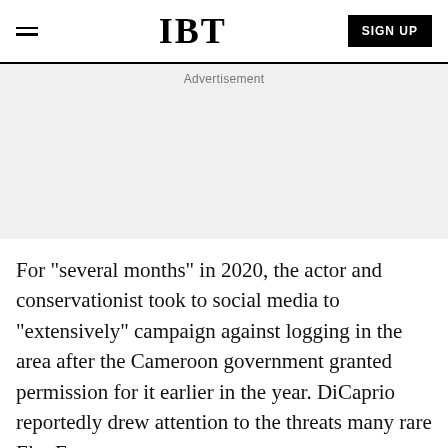IBT
[Figure (other): Advertisement placeholder area with gray background]
For "several months" in 2020, the actor and conservationist took to social media to "extensively" campaign against logging in the area after the Cameroon government granted permission for it earlier in the year. DiCaprio reportedly drew attention to the threats many rare Ebo Forest